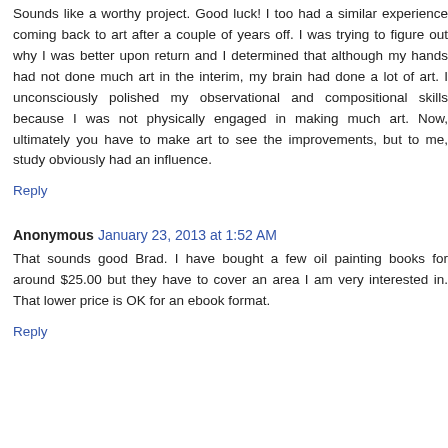Sounds like a worthy project. Good luck! I too had a similar experience coming back to art after a couple of years off. I was trying to figure out why I was better upon return and I determined that although my hands had not done much art in the interim, my brain had done a lot of art. I unconsciously polished my observational and compositional skills because I was not physically engaged in making much art. Now, ultimately you have to make art to see the improvements, but to me, study obviously had an influence.
Reply
Anonymous  January 23, 2013 at 1:52 AM
That sounds good Brad. I have bought a few oil painting books for around $25.00 but they have to cover an area I am very interested in. That lower price is OK for an ebook format.
Reply